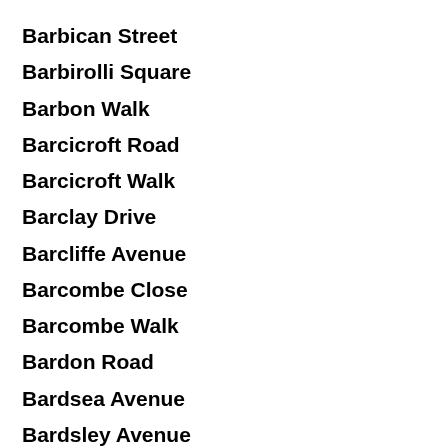Barbican Street
Barbirolli Square
Barbon Walk
Barcicroft Road
Barcicroft Walk
Barclay Drive
Barcliffe Avenue
Barcombe Close
Barcombe Walk
Bardon Road
Bardsea Avenue
Bardsley Avenue
Bardsley Street